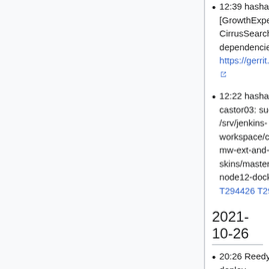12:39 hashar: reloaded Zuul for [GrowthExperiments] Add CirrusSearch to phan dependencies - https://gerrit.wikimedia.org/r/734954
12:22 hashar: integration-castor03: sudo rm -fR /srv/jenkins-workspace/caches/castor-mw-ext-and-skins/master/mwgate-node12-docker # T294426 T293937
2021-10-26
20:26 Reedy: Reloading Zuul to deploy https://gerrit.wikimedia.org/r/734728
10:17 hashar: Updating all Jenkins job to remove `--compress` option